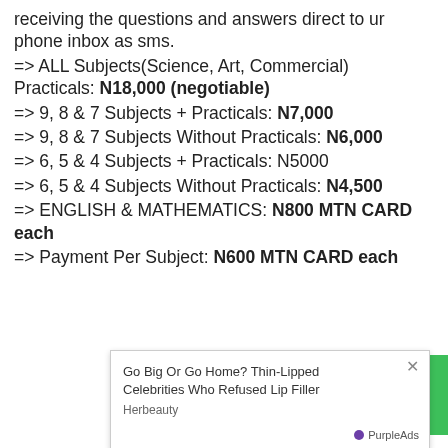receiving the questions and answers direct to ur phone inbox as sms.
=> ALL Subjects(Science, Art, Commercial) Practicals: N18,000 (negotiable)
=> 9, 8 & 7 Subjects + Practicals: N7,000
=> 9, 8 & 7 Subjects Without Practicals: N6,000
=> 6, 5 & 4 Subjects + Practicals: N5000
=> 6, 5 & 4 Subjects Without Practicals: N4,500
=> ENGLISH & MATHEMATICS: N800 MTN CARD each
=> Payment Per Subject: N600 MTN CARD each
[Figure (other): Advertisement overlay: 'Go Big Or Go Home? Thin-Lipped Celebrities Who Refused Lip Filler' by Herbeauty, with PurpleAds badge and a green circle element partially visible on the right]